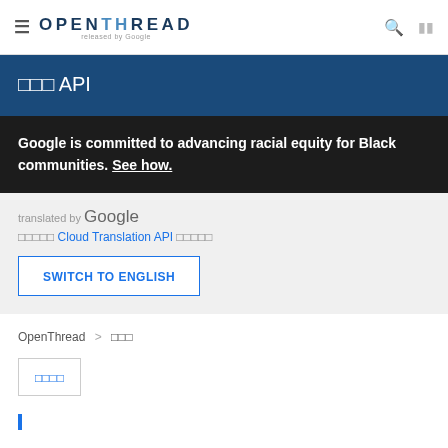≡  OPENTHREAD released by Google   🔍  ⊞
참조 API
Google is committed to advancing racial equity for Black communities. See how.
translated by Google
이것은 Cloud Translation API 번역입니다.
SWITCH TO ENGLISH
OpenThread > 참조
지원되지
—